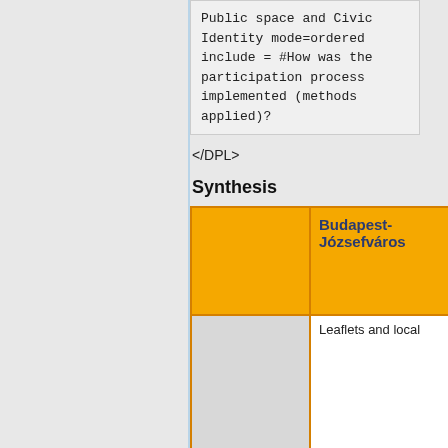Public space and Civic Identity
 mode=ordered
 include = #How was the participation process implemented (methods applied)?
</DPL>
Synthesis
|  | Budapest-Józsefváros |
| --- | --- |
|  | Leaflets and local |